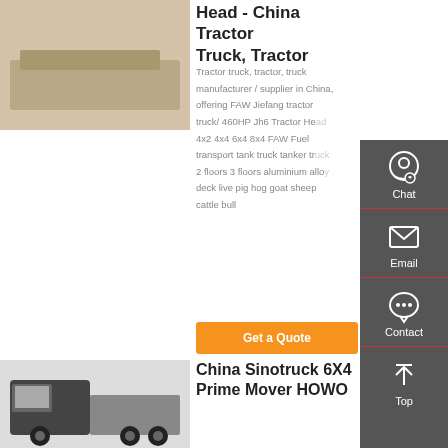[Figure (photo): Partial view of a tractor truck product image at top left]
Head - China Tractor Truck, Tractor
Tractor truck, tractor, truck manufacturer / supplier in China, offering FAW Jiefang tractor truck/ 460HP Jh6 Tractor Head 4x2 4x4 6x4 8x4 FAW Fuel transport tank truck tanker truck 2 floors 3 floors aluminium alloy deck live pig hog goat sheep cattle bull
Get a Quote
[Figure (photo): Chat icon - customer service headset]
Chat
[Figure (photo): Email icon - envelope]
Email
[Figure (photo): Contact icon - speech bubble with dots]
Contact
[Figure (photo): Top arrow icon - scroll to top]
Top
[Figure (photo): China Sinotruck 6X4 Prime Mover HOWO truck product image at bottom left]
China Sinotruck 6X4 Prime Mover HOWO